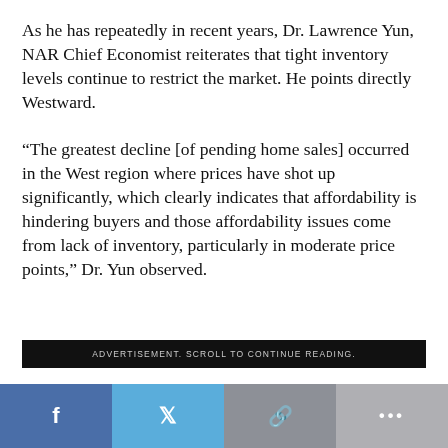As he has repeatedly in recent years, Dr. Lawrence Yun, NAR Chief Economist reiterates that tight inventory levels continue to restrict the market. He points directly Westward.
“The greatest decline [of pending home sales] occurred in the West region where prices have shot up significantly, which clearly indicates that affordability is hindering buyers and those affordability issues come from lack of inventory, particularly in moderate price points,” Dr. Yun observed.
ADVERTISEMENT. SCROLL TO CONTINUE READING.